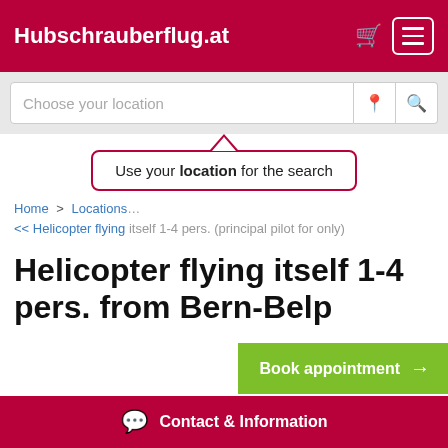Hubschrauberflug.at
[Figure (screenshot): Search bar with placeholder 'Choose your location', location pin icon, and search magnifier icon]
Use your location for the search
Home > Locations > << Helicopter flying itself 1-4 pers. (principal pilot for only)
Helicopter flying itself 1-4 pers. from Bern-Belp
Book appointment →
Contact & Information